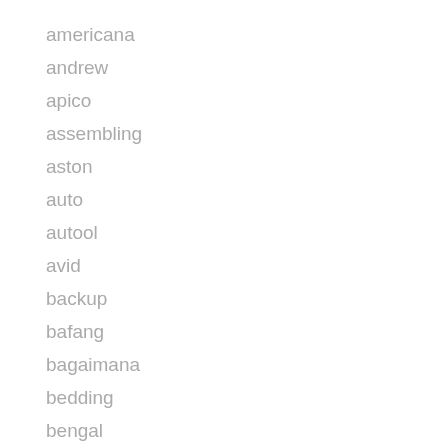americana
andrew
apico
assembling
aston
auto
autool
avid
backup
bafang
bagaimana
bedding
bengal
best
beta
better
bicycle